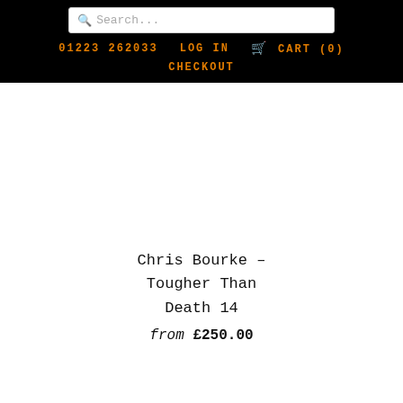Search... | 01223 262033 | LOG IN | CART (0) | CHECKOUT
Chris Bourke - Tougher Than Death 14
from £250.00